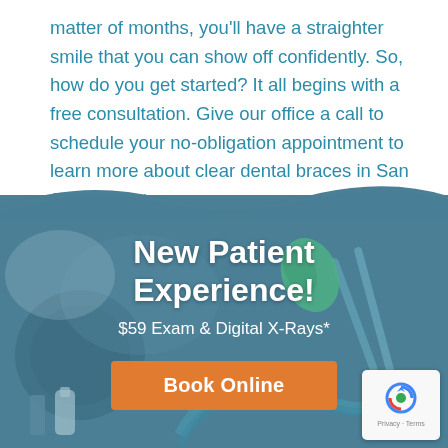matter of months, you'll have a straighter smile that you can show off confidently. So, how do you get started? It all begins with a free consultation. Give our office a call to schedule your no-obligation appointment to learn more about clear dental braces in San Juan Capistrano.
[Figure (photo): Dental tools and equipment on a teal/steel blue background, used as a promotional banner background image]
New Patient Experience!
$59 Exam & Digital X-Rays*
Book Online